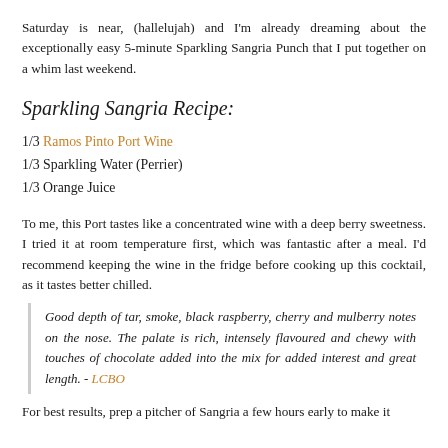Saturday is near, (hallelujah) and I'm already dreaming about the exceptionally easy 5-minute Sparkling Sangria Punch that I put together on a whim last weekend.
Sparkling Sangria Recipe:
1/3 Ramos Pinto Port Wine
1/3 Sparkling Water (Perrier)
1/3 Orange Juice
To me, this Port tastes like a concentrated wine with a deep berry sweetness. I tried it at room temperature first, which was fantastic after a meal. I'd recommend keeping the wine in the fridge before cooking up this cocktail, as it tastes better chilled.
Good depth of tar, smoke, black raspberry, cherry and mulberry notes on the nose. The palate is rich, intensely flavoured and chewy with touches of chocolate added into the mix for added interest and great length. - LCBO
For best results, prep a pitcher of Sangria a few hours early to make it